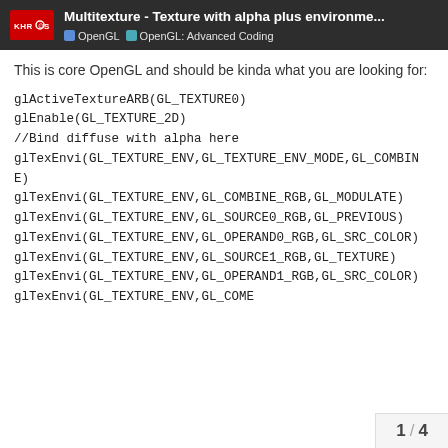Multitexture - Texture with alpha plus environme... | OpenGL | OpenGL: Advanced Coding
This is core OpenGL and should be kinda what you are looking for:
glActiveTextureARB(GL_TEXTURE0)
glEnable(GL_TEXTURE_2D)
//Bind diffuse with alpha here
glTexEnvi(GL_TEXTURE_ENV,GL_TEXTURE_ENV_MODE,GL_COMBINE)
glTexEnvi(GL_TEXTURE_ENV,GL_COMBINE_RGB,GL_MODULATE)
glTexEnvi(GL_TEXTURE_ENV,GL_SOURCE0_RGB,GL_PREVIOUS)
glTexEnvi(GL_TEXTURE_ENV,GL_OPERAND0_RGB,GL_SRC_COLOR)
glTexEnvi(GL_TEXTURE_ENV,GL_SOURCE1_RGB,GL_TEXTURE)
glTexEnvi(GL_TEXTURE_ENV,GL_OPERAND1_RGB,GL_SRC_COLOR)
glTexEnvi(GL_TEXTURE_ENV,GL_COME
1 / 4